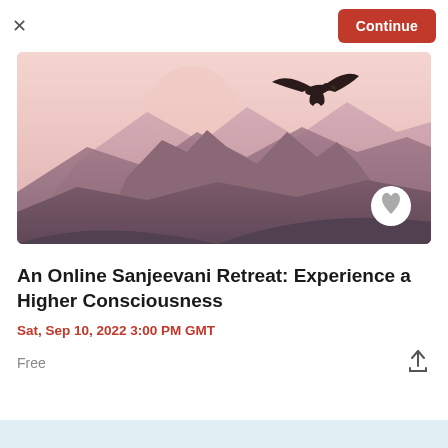× Continue
[Figure (photo): Misty pink mountain landscape with layered purple-pink mountain ridges and a large bird (hawk or eagle) silhouette flying in the upper right, with a faint circular sun or moon shape in the background sky.]
An Online Sanjeevani Retreat: Experience a Higher Consciousness
Sat, Sep 10, 2022 3:00 PM GMT
Free